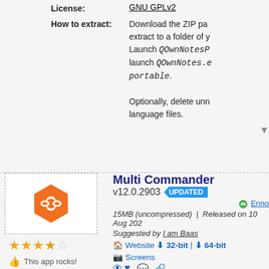License: GNU GPLv2
How to extract: Download the ZIP package, extract to a folder of your choice. Launch QOwnNotesPortable... launch QOwnNotes.exe with -portable. Optionally, delete unnecessary language files.
[Figure (logo): Multi Commander orange hexagon logo with chain-link icon]
3.5 star rating. This app rocks! This app sucks!
Multi Commander v12.0.2903 UPDATED
15MB (uncompressed) | Released on 10 Aug 202... Suggested by I am Baas
Website 32-bit | 64-bit Screenshots
Multi Commander is a customizable, multi-tabbed file manager with a dual-p...